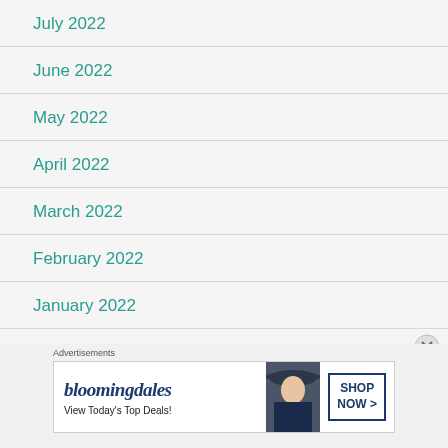July 2022
June 2022
May 2022
April 2022
March 2022
February 2022
January 2022
December 2021
November 2021
[Figure (other): Bloomingdale's advertisement banner: 'View Today's Top Deals!' with SHOP NOW > button and a woman wearing a wide-brim hat]